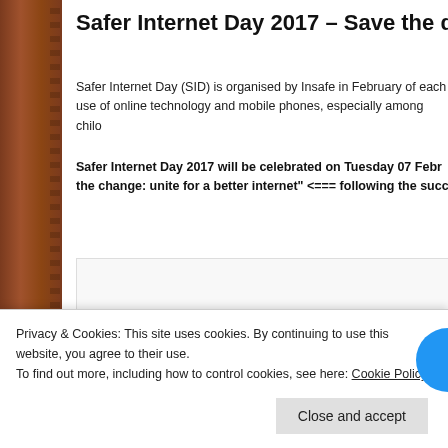Safer Internet Day 2017 – Save the date!
Safer Internet Day (SID) is organised by Insafe in February of each use of online technology and mobile phones, especially among chilo
Safer Internet Day 2017 will be celebrated on Tuesday 07 Febr the change: unite for a better internet" <=== following the succ
[Figure (other): WiFi symbol icon in blue on white background inside a bordered box]
Privacy & Cookies: This site uses cookies. By continuing to use this website, you agree to their use.
To find out more, including how to control cookies, see here: Cookie Policy
Close and accept